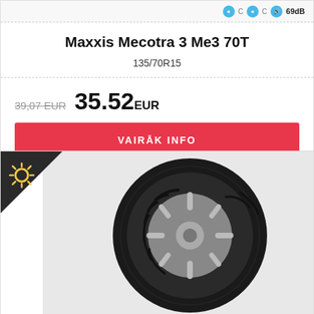[Figure (photo): Top portion of a black car tire with EU label icons and 69dB noise rating]
Maxxis Mecotra 3 Me3 70T
135/70R15
39,07 EUR  35.52 EUR
VAIRĀK INFO
[Figure (photo): Black winter car tire with summer season badge (sun icon) in top-left corner, shown on a silver alloy wheel]